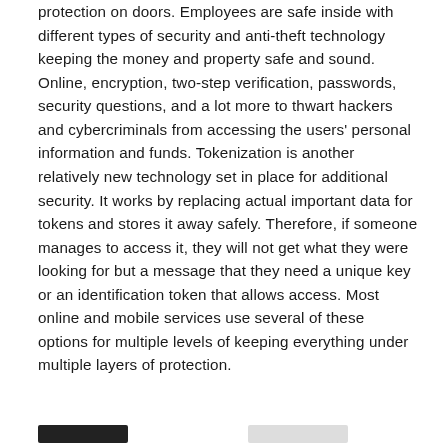protection on doors. Employees are safe inside with different types of security and anti-theft technology keeping the money and property safe and sound. Online, encryption, two-step verification, passwords, security questions, and a lot more to thwart hackers and cybercriminals from accessing the users' personal information and funds. Tokenization is another relatively new technology set in place for additional security. It works by replacing actual important data for tokens and stores it away safely. Therefore, if someone manages to access it, they will not get what they were looking for but a message that they need a unique key or an identification token that allows access. Most online and mobile services use several of these options for multiple levels of keeping everything under multiple layers of protection.